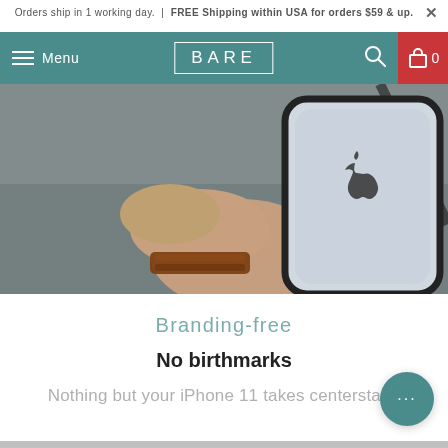Orders ship in 1 working day. | FREE Shipping within USA for orders $59 & up.
[Figure (screenshot): Navigation bar with teal background showing hamburger menu and 'Menu' text on left, 'BARE' logo in center with border, search icon and red shopping bag icon with '0' on right]
[Figure (photo): Hand holding an iPhone from behind showing Apple logo, person wearing a brown leather watch strap, blurred concrete background with dark metal stand visible]
Branding-free
No birthmarks
Nothing but your iPhone 11 takes centerstage